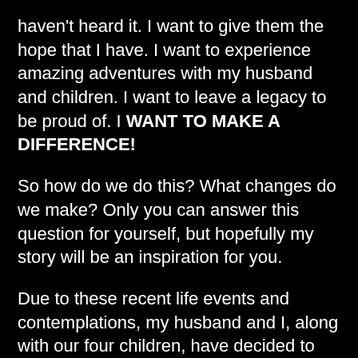haven't heard it. I want to give them the hope that I have. I want to experience amazing adventures with my husband and children. I want to leave a legacy to be proud of. I WANT TO MAKE A DIFFERENCE!
So how do we do this? What changes do we make? Only you can answer this question for yourself, but hopefully my story will be an inspiration for you.
Due to these recent life events and contemplations, my husband and I, along with our four children, have decided to pack up and hit the road this June. We will be selling our possessions and setting out with our van towing a camper of some sort (which we have yet to acquire). Our goal is to spend an undetermined amount of time touring the United States so that I can focus more on building my music career, and my husband can work on a photography project he's had in mind for some time. While some may think this is crazy, we feel